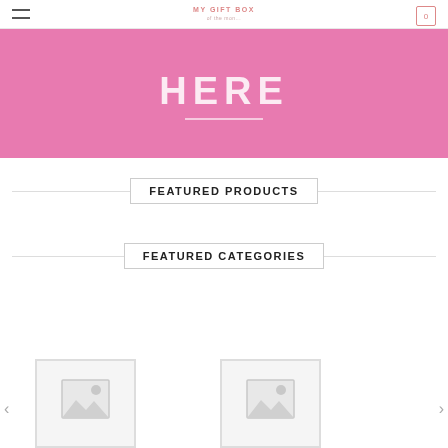MY GIFT BOX
[Figure (photo): Pink hero banner with text HERE and a horizontal white line below it]
FEATURED PRODUCTS
FEATURED CATEGORIES
[Figure (photo): Placeholder product image thumbnail on the left]
[Figure (photo): Placeholder product image thumbnail on the right]